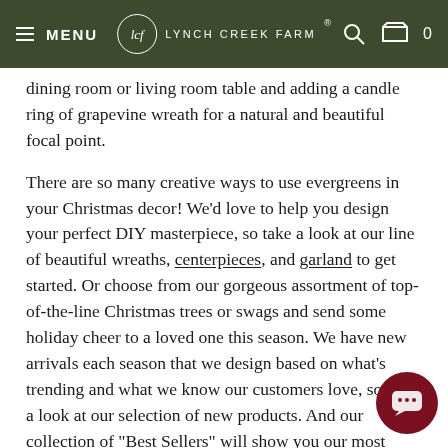MENU | LYNCH CREEK FARM | 0
dining room or living room table and adding a candle ring of grapevine wreath for a natural and beautiful focal point.

There are so many creative ways to use evergreens in your Christmas decor! We'd love to help you design your perfect DIY masterpiece, so take a look at our line of beautiful wreaths, centerpieces, and garland to get started. Or choose from our gorgeous assortment of top-of-the-line Christmas trees or swags and send some holiday cheer to a loved one this season. We have new arrivals each season that we design based on what's trending and what we know our customers love, so take a look at our selection of new products. And our collection of "Best Sellers" will show you our most popular and beloved items that our customers keep coming back for. We've been working hard year round to get ready to send you our beautiful, high-quality products, so let us know how we can help you decorate this holiday season. We accept all major credit cards and offer multiple options for shipping, including next-day delivery. And don't forget to add a wreath hanger at checkout!